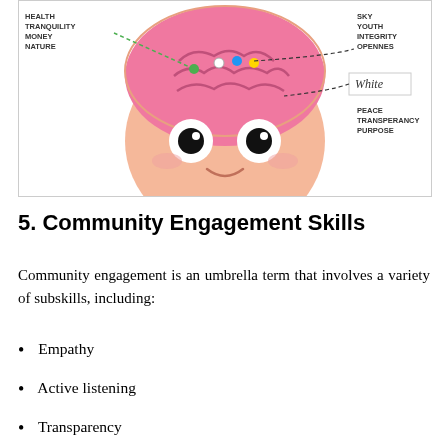[Figure (illustration): Cartoon illustration of a child's face with a pink brain visible at the top of the head. Color-coded dots on the brain connect via dashed arrows to labeled word groups on the sides. Left labels: HEALTH, TRANQUILITY, MONEY, NATURE (connected to a green dot). Right labels with dashed arrow: SKY, YOUTH, INTEGRITY, OPENNES (upper area); White (handwritten label with arrow); PEACE, TRANSPERANCY, PURPOSE (lower right).]
5. Community Engagement Skills
Community engagement is an umbrella term that involves a variety of subskills, including:
Empathy
Active listening
Transparency